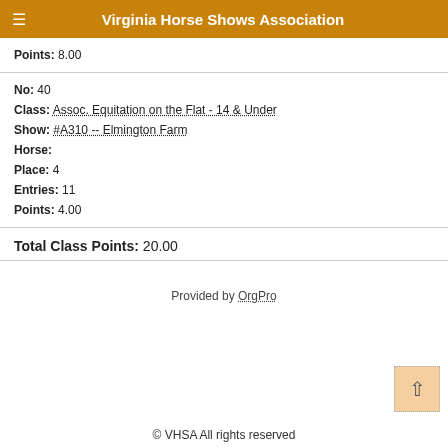Virginia Horse Shows Association
Points: 8.00
No: 40
Class: Assoc. Equitation on the Flat - 14 & Under
Show: #A310 -- Elmington Farm
Horse:
Place: 4
Entries: 11
Points: 4.00
Total Class Points: 20.00
Provided by OrgPro
© VHSA All rights reserved